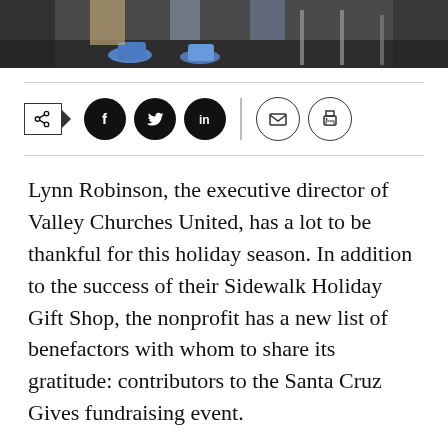[Figure (photo): Bottom portion of a photo showing people's feet/shoes and shopping carts in what appears to be a store or event setting]
[Figure (infographic): Social media sharing bar with share button, Facebook, Twitter, LinkedIn (filled circles), and email, print (outline circles) icons]
Lynn Robinson, the executive director of Valley Churches United, has a lot to be thankful for this holiday season. In addition to the success of their Sidewalk Holiday Gift Shop, the nonprofit has a new list of benefactors with whom to share its gratitude: contributors to the Santa Cruz Gives fundraising event.